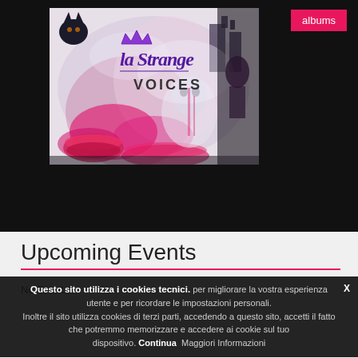[Figure (illustration): Album cover for 'La Strange – Voices'. Artistic illustration with purple/pink tones, text 'la Strange' in stylized font with a crown, and 'VOICES' below. Dark artistic background with abstract figures.]
albums
Upcoming Events
No Events
Questo sito utilizza i cookies tecnici. per migliorare la vostra esperienza utente e per ricordare le impostazioni personali. Inoltre il sito utilizza cookies di terzi parti, accedendo a questo sito, accetti il fatto che potremmo memorizzare e accedere ai cookie sul tuo dispositivo. Continua  Maggiori Informazioni